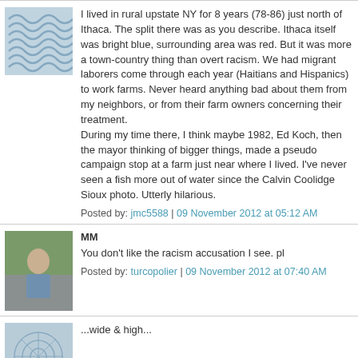I lived in rural upstate NY for 8 years (78-86) just north of Ithaca. The split there was as you describe. Ithaca itself was bright blue, surrounding area was red. But it was more a town-country thing than overt racism. We had migrant laborers come through each year (Haitians and Hispanics) to work farms. Never heard anything bad about them from my neighbors, or from the farm owners concerning their treatment.
During my time there, I think maybe 1982, Ed Koch, then the mayor thinking of bigger things, made a pseudo campaign stop at a farm just near where I lived. I've never seen a fish more out of water since the Calvin Coolidge Sioux photo. Utterly hilarious.
Posted by: jmc5588 | 09 November 2012 at 05:12 AM
MM
You don't like the racism accusation I see. pl
Posted by: turcopolier | 09 November 2012 at 07:40 AM
...wide & high...
venue?